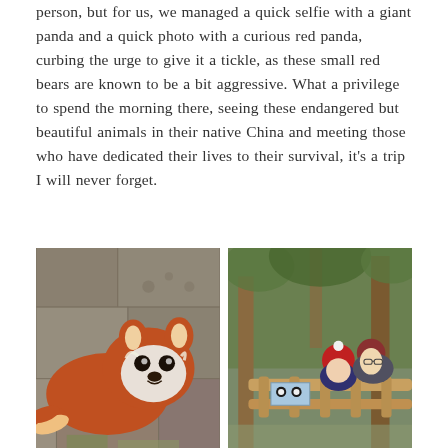person, but for us, we managed a quick selfie with a giant panda and a quick photo with a curious red panda, curbing the urge to give it a tickle, as these small red bears are known to be a bit aggressive. What a privilege to spend the morning there, seeing these endangered but beautiful animals in their native China and meeting those who have dedicated their lives to their survival, it's a trip I will never forget.
[Figure (photo): A red panda on a stone-paved ground, close-up view from above]
[Figure (photo): Two people (a child and an adult) near a wooden fence with trees in the background, at what appears to be a zoo or wildlife reserve]